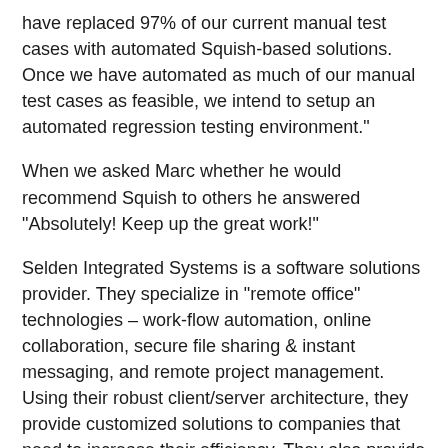have replaced 97% of our current manual test cases with automated Squish-based solutions. Once we have automated as much of our manual test cases as feasible, we intend to setup an automated regression testing environment."
When we asked Marc whether he would recommend Squish to others he answered "Absolutely! Keep up the great work!"
Selden Integrated Systems is a software solutions provider. They specialize in "remote office" technologies – work-flow automation, online collaboration, secure file sharing & instant messaging, and remote project management. Using their robust client/server architecture, they provide customized solutions to companies that need to increase their efficiency. They also provide tools that help customers streamline their own work-flow processes.